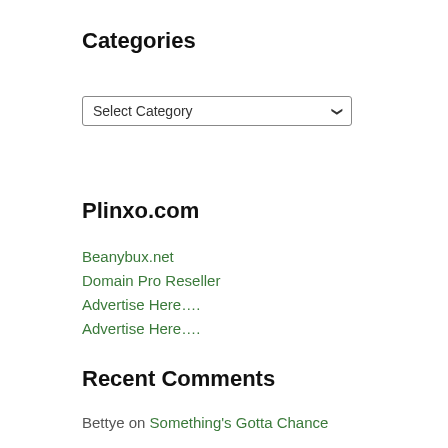Categories
[Figure (other): Select Category dropdown widget]
Plinxo.com
Beanybux.net
Domain Pro Reseller
Advertise Here….
Advertise Here….
Recent Comments
Bettye on Something's Gotta Chance
Louisbaica on Check Out Time
Louisbaica on Rock And Roll Is Dead
Louisbaica on Bush Sr. Honors Women's World Cup Soccer Champions
Louisbaica on A new retail version of Rocket League is coming